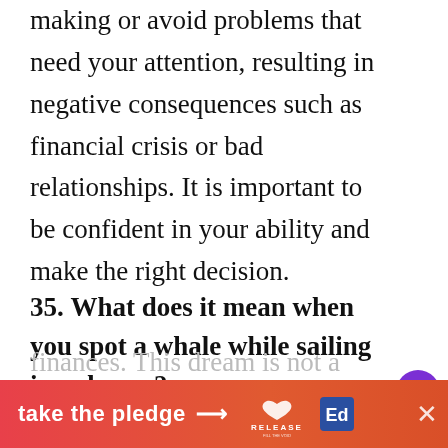making or avoid problems that need your attention, resulting in negative consequences such as financial crisis or bad relationships. It is important to be confident in your ability and make the right decision.
35. What does it mean when you spot a whale while sailing in a dream?
To dream about seeing a whale up close while sailing indicates that there will be some obstacles in your work life and finances. This dream is not a good sign, but ho...ze
[Figure (infographic): Orange/red ad banner at bottom reading 'take the pledge' with arrow, Release logo, and a close X button]